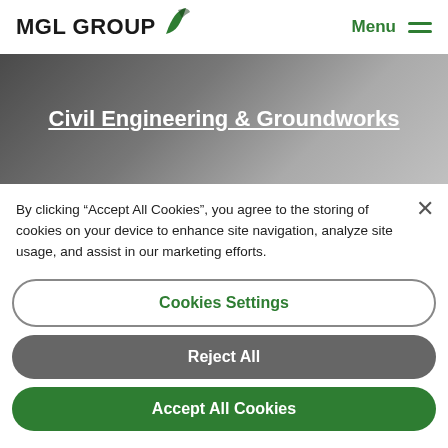MGL GROUP | Menu
Civil Engineering & Groundworks
By clicking "Accept All Cookies", you agree to the storing of cookies on your device to enhance site navigation, analyze site usage, and assist in our marketing efforts.
Cookies Settings
Reject All
Accept All Cookies